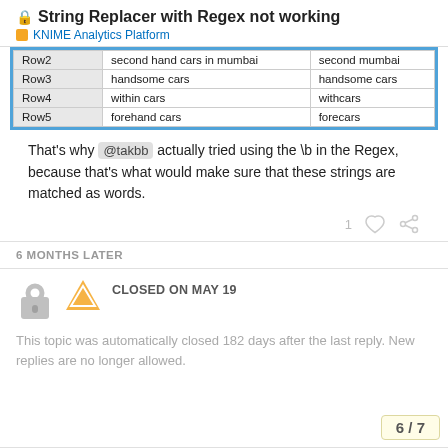🔒 String Replacer with Regex not working
KNIME Analytics Platform
| Row2 | second hand cars in mumbai | second mumbai |
| Row3 | handsome cars | handsome cars |
| Row4 | within cars | withcars |
| Row5 | forehand cars | forecars |
That's why @takbb actually tried using the \b in the Regex, because that's what would make sure that these strings are matched as words.
1 ♡ 🔗
6 MONTHS LATER
CLOSED ON MAY 19
This topic was automatically closed 182 days after the last reply. New replies are no longer allowed.
6 / 7